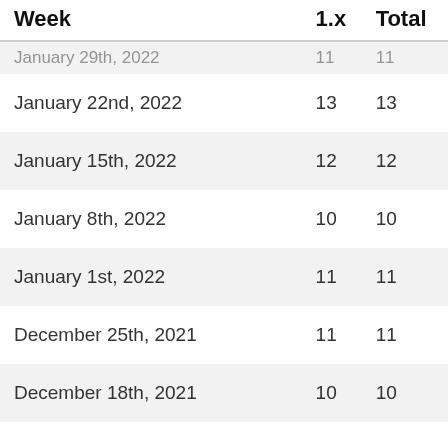| Week | 1.x | Total |
| --- | --- | --- |
| January 29th, 2022 | 11 | 11 |
| January 22nd, 2022 | 13 | 13 |
| January 15th, 2022 | 12 | 12 |
| January 8th, 2022 | 10 | 10 |
| January 1st, 2022 | 11 | 11 |
| December 25th, 2021 | 11 | 11 |
| December 18th, 2021 | 10 | 10 |